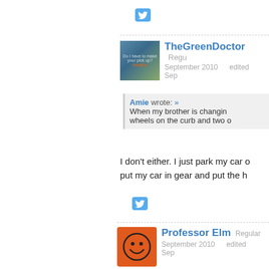[Figure (other): Twitter share button icon]
TheGreenDoctor Regular September 2010 edited Sep
Amie wrote: » When my brother is changing wheels on the curb and two
I don't either. I just park my car put my car in gear and put the h
[Figure (other): Twitter share button icon]
Professor Elm Regular September 2010 edited Sep
beans! my dad had a go after re
[Figure (other): Twitter share button icon]
Unknown